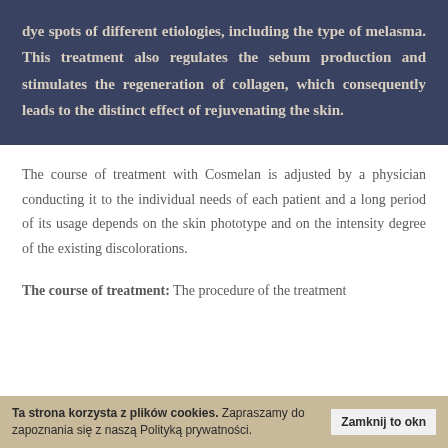dye spots of different etiologies, including the type of melasma. This treatment also regulates the sebum production and stimulates the regeneration of collagen, which consequently leads to the distinct effect of rejuvenating the skin.
The course of treatment with Cosmelan is adjusted by a physician conducting it to the individual needs of each patient and a long period of its usage depends on the skin phototype and on the intensity degree of the existing discolorations.
The course of treatment: The procedure of the treatment
Ta strona korzysta z plików cookies. Zapraszamy do zapoznania się z naszą Polityką prywatności.